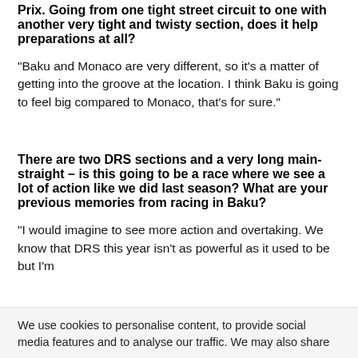Prix. Going from one tight street circuit to one with another very tight and twisty section, does it help preparations at all?
“Baku and Monaco are very different, so it’s a matter of getting into the groove at the location. I think Baku is going to feel big compared to Monaco, that’s for sure.”
There are two DRS sections and a very long main-straight – is this going to be a race where we see a lot of action like we did last season? What are your previous memories from racing in Baku?
“I would imagine to see more action and overtaking. We know that DRS this year isn’t as powerful as it used to be but I’m
We use cookies to personalise content, to provide social media features and to analyse our traffic. We may also share